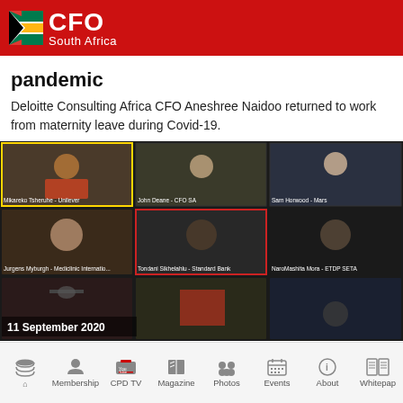[Figure (logo): CFO South Africa logo on red background with South Africa flag icon]
pandemic
Deloitte Consulting Africa CFO Aneshree Naidoo returned to work from maternity leave during Covid-19.
[Figure (screenshot): Video conference screenshot showing 8 participants in a grid layout. Labels include: Mikareko Tsheruhe - Unilever, John Deane - CFO SA, Sam Horwood - Mars, Jurgens Myburgh - Mediclinic Internatio..., Tondani Sikelelahlu - Standard Bank, NaroMashita Mora - ETDP SETA. Timestamp: 11 September 2020]
CFOs discuss the power of bringing their purpose to work
Home | Membership | CPD TV | Magazine | Photos | Events | About | Whitepaper